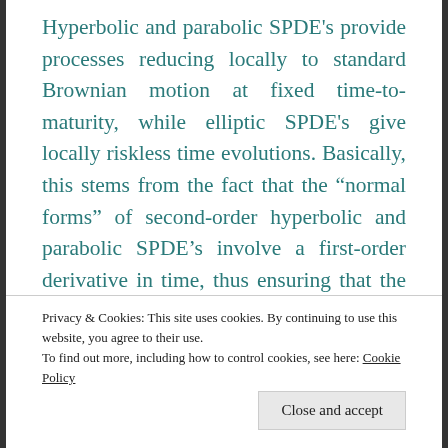Hyperbolic and parabolic SPDE's provide processes reducing locally to standard Brownian motion at fixed time-to-maturity, while elliptic SPDE's give locally riskless time evolutions. Basically, this stems from the fact that the “normal forms” of second-order hyperbolic and parabolic SPDE’s involve a first-order derivative in time, thus ensuring that the stochastic processes are locally Brownian in time. In contrast, the “normal form” of second-order elliptic SPDE’s involve a second- order derivative with respect to time, which is the cause for the
Privacy & Cookies: This site uses cookies. By continuing to use this website, you agree to their use.
To find out more, including how to control cookies, see here: Cookie Policy
Close and accept